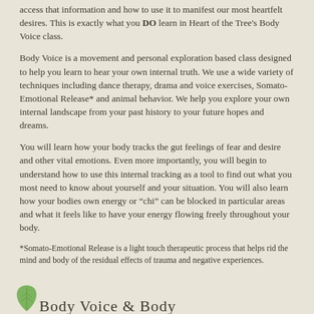access that information and how to use it to manifest our most heartfelt desires. This is exactly what you DO learn in Heart of the Tree's Body Voice class.
Body Voice is a movement and personal exploration based class designed to help you learn to hear your own internal truth. We use a wide variety of techniques including dance therapy, drama and voice exercises, Somato-Emotional Release* and animal behavior. We help you explore your own internal landscape from your past history to your future hopes and dreams.
You will learn how your body tracks the gut feelings of fear and desire and other vital emotions. Even more importantly, you will begin to understand how to use this internal tracking as a tool to find out what you most need to know about yourself and your situation. You will also learn how your bodies own energy or "chi" can be blocked in particular areas and what it feels like to have your energy flowing freely throughout your body.
*Somato-Emotional Release is a light touch therapeutic process that helps rid the mind and body of the residual effects of trauma and negative experiences.
[Figure (logo): Green leaf logo with cursive script text reading 'Body Voice' or similar]